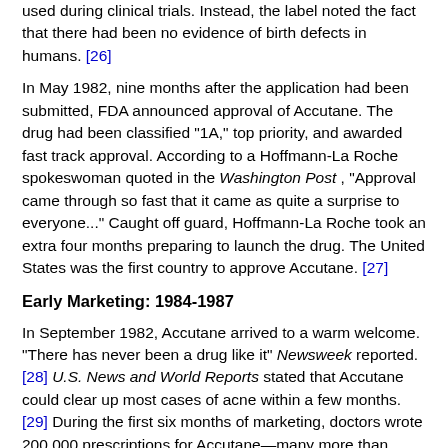used during clinical trials. Instead, the label noted the fact that there had been no evidence of birth defects in humans. [26]
In May 1982, nine months after the application had been submitted, FDA announced approval of Accutane. The drug had been classified "1A," top priority, and awarded fast track approval. According to a Hoffmann-La Roche spokeswoman quoted in the Washington Post , "Approval came through so fast that it came as quite a surprise to everyone..." Caught off guard, Hoffmann-La Roche took an extra four months preparing to launch the drug. The United States was the first country to approve Accutane. [27]
Early Marketing: 1984-1987
In September 1982, Accutane arrived to a warm welcome. "There has never been a drug like it" Newsweek reported. [28] U.S. News and World Reports stated that Accutane could clear up most cases of acne within a few months. [29] During the first six months of marketing, doctors wrote 200,000 prescriptions for Accutane—many more than even Hoffmann-La Roche had expected. [30]